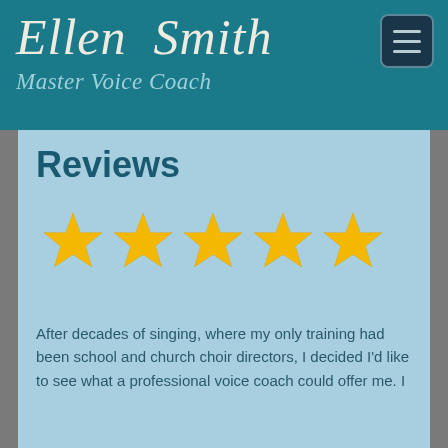Ellen Smith
Master Voice Coach
Reviews
[Figure (infographic): Five golden star rating icons in a row]
After decades of singing, where my only training had been school and church choir directors, I decided I'd like to see what a professional voice coach could offer me. I